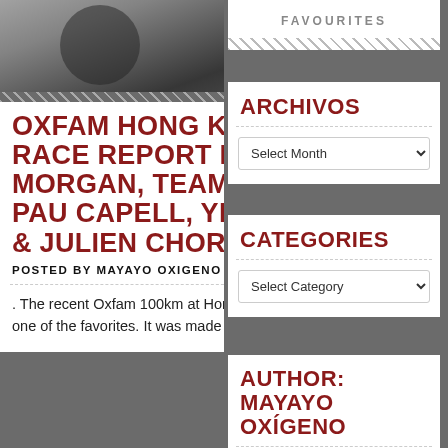[Figure (photo): Photo of a runner/athlete, dark toned image cropped to show upper body]
OXFAM HONG KONG 100K RACE REPORT BY CASEY MORGAN, TEAMED UP WITH PAU CAPELL, YERAY DURA & JULIEN CHORIER.
POSTED BY MAYAYO OXIGENO
. The recent Oxfam 100km at Hong Kong saw a european team arrive as one of the favorites. It was made up of
FAVOURITES
ARCHIVOS
CATEGORIES
AUTHOR: MAYAYO OXÍGENO